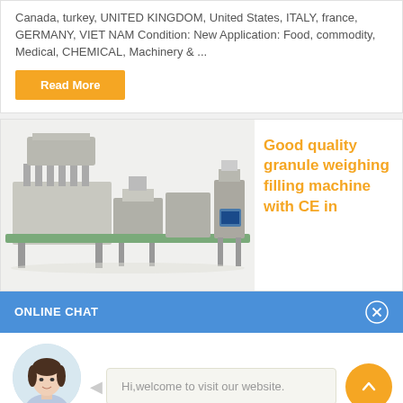Canada, turkey, UNITED KINGDOM, United States, ITALY, france, GERMANY, VIET NAM Condition: New Application: Food, commodity, Medical, CHEMICAL, Machinery & ...
Read More
[Figure (photo): Industrial granule weighing and filling machine, stainless steel, multiple filling heads with conveyor line]
Good quality granule weighing filling machine with CE in
ONLINE CHAT
[Figure (photo): Avatar of a young woman named Cilina, customer service representative]
Cilina
Hi,welcome to visit our website.